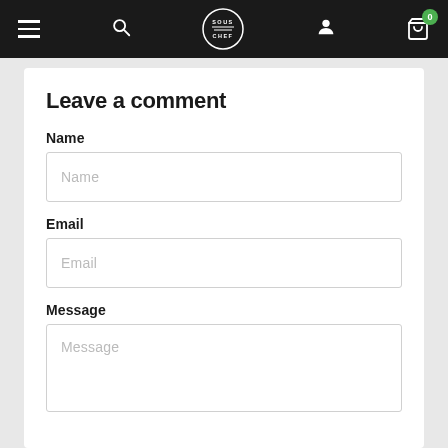Sous Chef navigation bar with hamburger menu, search, logo, user icon, and cart (0)
Leave a comment
Name
Name (placeholder)
Email
Email (placeholder)
Message
Message (placeholder)